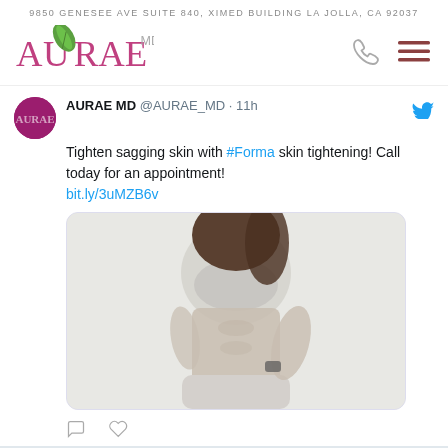9850 GENESEE AVE SUITE 840, XIMED BUILDING LA JOLLA, CA 92037
[Figure (logo): Aurae MD logo with green leaf accent and 'MD' superscript, plus phone and hamburger menu icons]
AURAE MD @AURAE_MD · 11h
Tighten sagging skin with #Forma skin tightening! Call today for an appointment! bit.ly/3uMZB6v
[Figure (photo): Woman in athletic wear showing toned midsection, wearing gray sports bra and light gray pants]
AURAE MD @AURAE_MD · 17h
Let us enhance your #Smile with